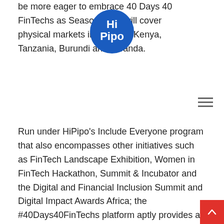[Figure (logo): HiPipo circular logo with blue background and white text reading Hi Pipo]
be more eager to embrace 40 Days 40 FinTechs as Season three will cover physical markets in Uganda, Kenya, Tanzania, Burundi and Rwanda.
Run under HiPipo's Include Everyone program that also encompasses other initiatives such as FinTech Landscape Exhibition, Women in FinTech Hackathon, Summit & Incubator and the Digital and Financial Inclusion Summit and Digital Impact Awards Africa; the #40Days40FinTechs platform aptly provides a setting for the various players and stakeholders involved in digital and financial technology to exhibit their products & Services and also share their ideas on how more of us, especially those unserved and underserved by the present financial systems, can be brought into the fold.